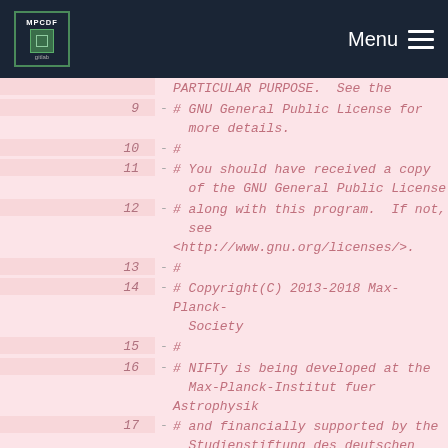MPCDF Menu
Code diff view showing lines 9-19 of a Python file with GNU GPL license header and from __future__ import statement
9  - # GNU General Public License for more details.
10 - #
11 - # You should have received a copy of the GNU General Public License
12 - # along with this program.  If not, see <http://www.gnu.org/licenses/>.
13 - #
14 - # Copyright(C) 2013-2018 Max-Planck-Society
15 - #
16 - # NIFTy is being developed at the Max-Planck-Institut fuer Astrophysik
17 - # and financially supported by the Studienstiftung des deutschen Volkes.
18 -
19 - from __future__ import absolute_import, division,